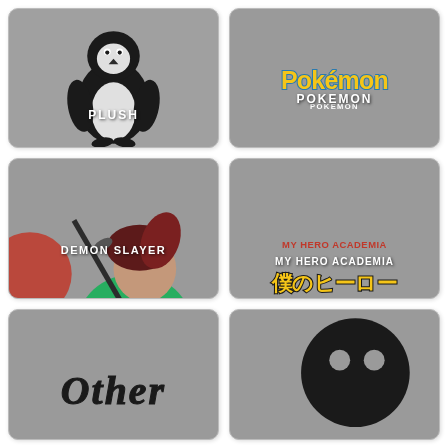[Figure (illustration): Gray card with a penguin plush illustration and text label PLUSH]
[Figure (illustration): Gray card with Pokemon logo and text label POKEMON]
[Figure (illustration): Gray card with Demon Slayer anime character illustration and text label DEMON SLAYER]
[Figure (illustration): Gray card with My Hero Academia logo in English and Japanese and text label MY HERO ACADEMIA]
[Figure (illustration): Gray card partially visible with stylized text at bottom, partially cut off]
[Figure (illustration): Gray card partially visible with a black circular icon, partially cut off]